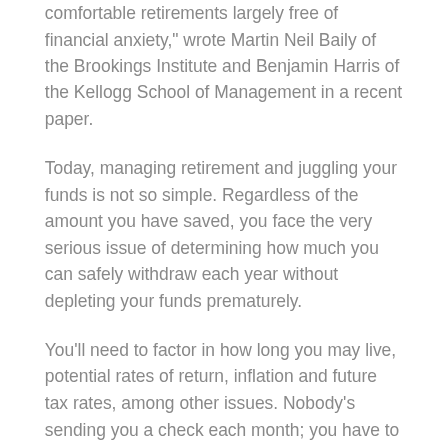comfortable retirements largely free of financial anxiety," wrote Martin Neil Baily of the Brookings Institute and Benjamin Harris of the Kellogg School of Management in a recent paper.
Today, managing retirement and juggling your funds is not so simple. Regardless of the amount you have saved, you face the very serious issue of determining how much you can safely withdraw each year without depleting your funds prematurely.
You'll need to factor in how long you may live, potential rates of return, inflation and future tax rates, among other issues. Nobody's sending you a check each month; you have to figure it out yourself.
“That point from accumulation to decumulation is very complex, and timing it all is so difficult,” Mike Mansfield, program director at the Aegon Center for Longevity and Retirement, says.